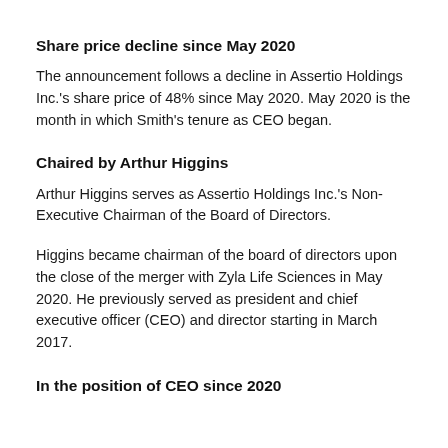Share price decline since May 2020
The announcement follows a decline in Assertio Holdings Inc.'s share price of 48% since May 2020. May 2020 is the month in which Smith's tenure as CEO began.
Chaired by Arthur Higgins
Arthur Higgins serves as Assertio Holdings Inc.'s Non-Executive Chairman of the Board of Directors.
Higgins became chairman of the board of directors upon the close of the merger with Zyla Life Sciences in May 2020. He previously served as president and chief executive officer (CEO) and director starting in March 2017.
In the position of CEO since 2020